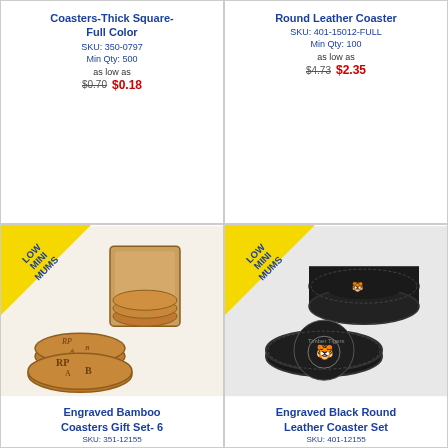Coasters-Thick Square-Full Color
SKU: 350-0797
Min Qty: 500
as low as $0.70  $0.18
Round Leather Coaster
SKU: 401-15012-FULL
Min Qty: 100
as low as $4.73  $2.35
[Figure (photo): Engraved bamboo coasters gift set with wooden holder, showing round coasters with RP AB monogram engraving, LOW MINIMUMS badge]
Engraved Bamboo Coasters Gift Set- 6
[Figure (photo): Engraved black round leather coaster set with holder, showing tiger logo engraving, LOW MINIMUMS badge]
Engraved Black Round Leather Coaster Set